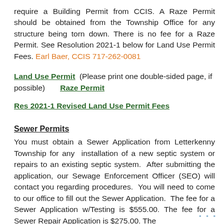require a Building Permit from CCIS. A Raze Permit should be obtained from the Township Office for any structure being torn down. There is no fee for a Raze Permit. See Resolution 2021-1 below for Land Use Permit Fees. Earl Baer, CCIS 717-262-0081
Land Use Permit (Please print one double-sided page, if possible) Raze Permit
Res 2021-1 Revised Land Use Permit Fees
Sewer Permits
You must obtain a Sewer Application from Letterkenny Township for any installation of a new septic system or repairs to an existing septic system. After submitting the application, our Sewage Enforcement Officer (SEO) will contact you regarding procedures. You will need to come to our office to fill out the Sewer Application. The fee for a Sewer Application w/Testing is $555.00. The fee for a Sewer Repair Application is $275.00. The
...